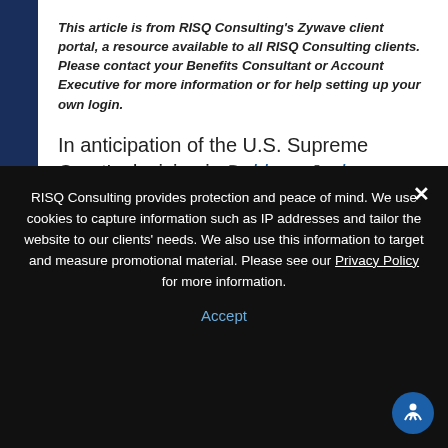This article is from RISQ Consulting's Zywave client portal, a resource available to all RISQ Consulting clients. Please contact your Benefits Consultant or Account Executive for more information or for help setting up your own login.
In anticipation of the U.S. Supreme Court's decision in Dobbs v. Jackson Women's Health Organization that overturned Roe v. Wade, states have enacted various laws regarding insurance coverage of abortion. Some states
RISQ Consulting provides protection and peace of mind. We use cookies to capture information such as IP addresses and tailor the website to our clients' needs. We also use this information to target and measure promotional material. Please see our Privacy Policy for more information.
Accept